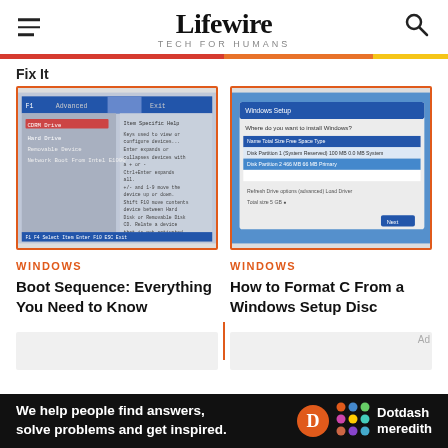Lifewire — TECH FOR HUMANS
Fix It
[Figure (screenshot): BIOS boot sequence configuration screen showing menu options]
WINDOWS
Boot Sequence: Everything You Need to Know
[Figure (screenshot): Windows Setup Disc disk selection screen for formatting]
WINDOWS
How to Format C From a Windows Setup Disc
Ad
We help people find answers, solve problems and get inspired.
Dotdash meredith